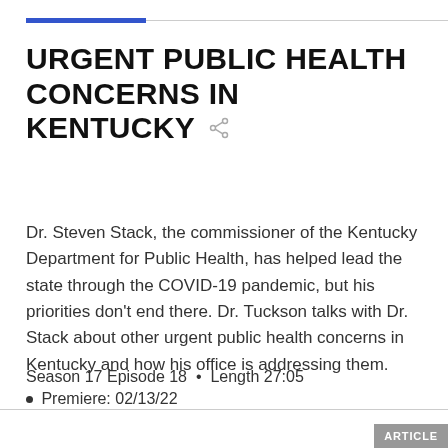URGENT PUBLIC HEALTH CONCERNS IN KENTUCKY
Dr. Steven Stack, the commissioner of the Kentucky Department for Public Health, has helped lead the state through the COVID-19 pandemic, but his priorities don't end there. Dr. Tuckson talks with Dr. Stack about other urgent public health concerns in Kentucky and how his office is addressing them.
Season 17 Episode 18  •  Length 27:05
Premiere: 02/13/22
ARTICLE